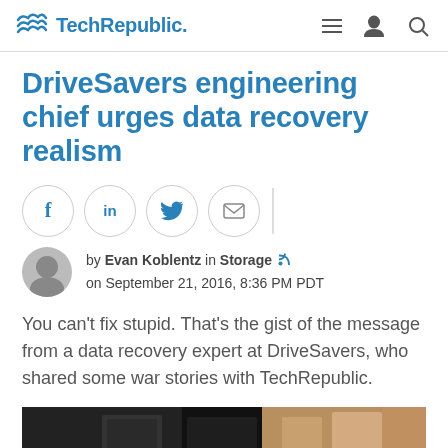TechRepublic
DriveSavers engineering chief urges data recovery realism
[Figure (infographic): Social sharing buttons: Facebook, LinkedIn, Twitter, Email, and a vertical divider]
by Evan Koblentz in Storage on September 21, 2016, 8:36 PM PDT
You can't fix stupid. That's the gist of the message from a data recovery expert at DriveSavers, who shared some war stories with TechRepublic.
[Figure (photo): Partial photo of what appears to be computer hardware or a data center environment]